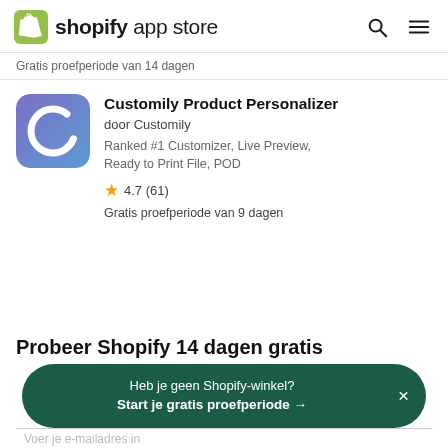shopify app store
Gratis proefperiode van 14 dagen
[Figure (logo): Customily Product Personalizer app icon — purple/blue gradient background with white crescent C logo]
Customily Product Personalizer
door Customily
Ranked #1 Customizer, Live Preview, Ready to Print File, POD
4.7 (61)
Gratis proefperiode van 9 dagen
Probeer Shopify 14 dagen gratis
Heb je geen Shopify-winkel?
Start je gratis proefperiode →
Voer je e-mailadres in